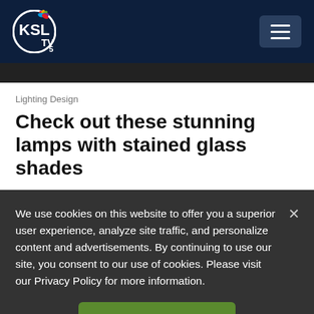[Figure (logo): KSL TV 5 NBC logo on dark navy header with hamburger menu button]
Lighting Design
Check out these stunning lamps with stained glass shades
We use cookies on this website to offer you a superior user experience, analyze site traffic, and personalize content and advertisements. By continuing to use our site, you consent to our use of cookies. Please visit our Privacy Policy for more information.
Accept Cookies